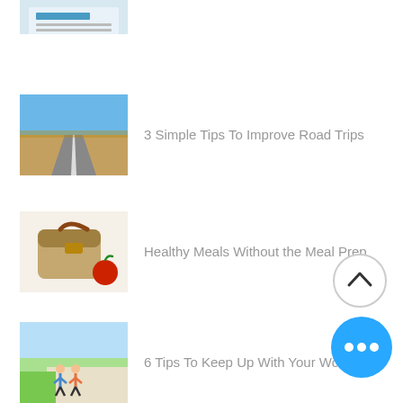[Figure (screenshot): Partial thumbnail of an article at top of page, partially cropped]
3 Simple Tips To Improve Road Trips
Healthy Meals Without the Meal Prep
6 Tips To Keep Up With Your Workouts
[Figure (other): Scroll-to-top button: circle with upward chevron]
[Figure (other): More options button: blue circle with three white dots]